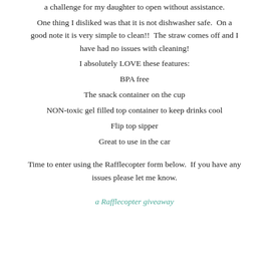a challenge for my daughter to open without assistance.

One thing I disliked was that it is not dishwasher safe.  On a good note it is very simple to clean!!  The straw comes off and I have had no issues with cleaning!

I absolutely LOVE these features:
BPA free
The snack container on the cup
NON-toxic gel filled top container to keep drinks cool
Flip top sipper
Great to use in the car
Time to enter using the Rafflecopter form below.  If you have any issues please let me know.
a Rafflecopter giveaway